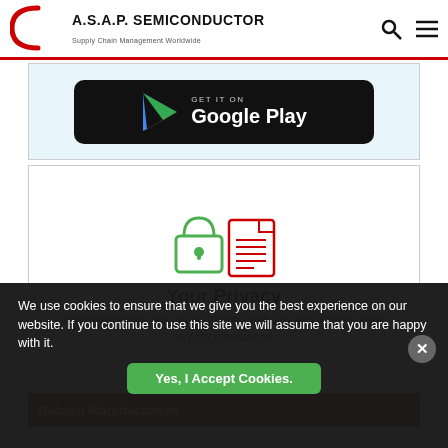[Figure (logo): A.S.A.P. Semiconductor logo with red arc, bold text and tagline 'Supply Chain Management Worldwide']
[Figure (screenshot): Google Play Store badge on light blue background with black rounded rectangle, play triangle icon and 'GET IT ON Google Play' text]
[Figure (infographic): Privacy notice graphic with padlock and document icons in red and green, title 'Your Privacy', text 'Your information will not be shared with any 3rd parties under any circumstances.']
Related Manufacturers
We use cookies to ensure that we give you the best experience on our website. If you continue to use this site we will assume that you are happy with it.
Yes, I Accept Cookies.